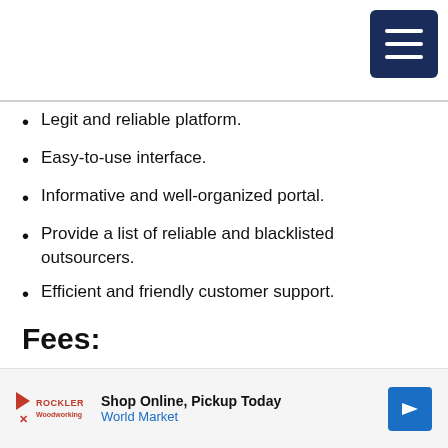Legit and reliable platform.
Easy-to-use interface.
Informative and well-organized portal.
Provide a list of reliable and blacklisted outsourcers.
Efficient and friendly customer support.
Fees:
The annual professional membership costs $96, i.e., $8 per month.